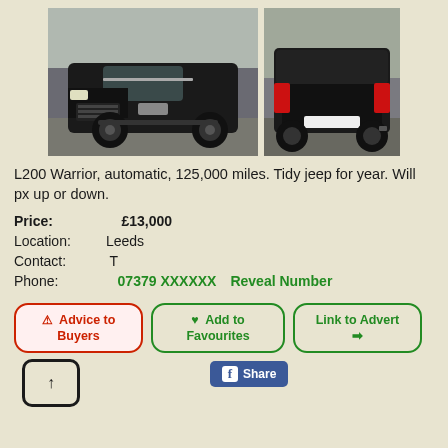[Figure (photo): Two photos of a black Mitsubishi L200 pickup truck. Left photo shows front-side view, right photo shows rear-side view.]
L200 Warrior, automatic, 125,000 miles. Tidy jeep for year. Will px up or down.
Price: £13,000
Location: Leeds
Contact: T
Phone: 07379 XXXXXX  Reveal Number
⚠ Advice to Buyers
♥ Add to Favourites
Link to Advert ➔
f Share